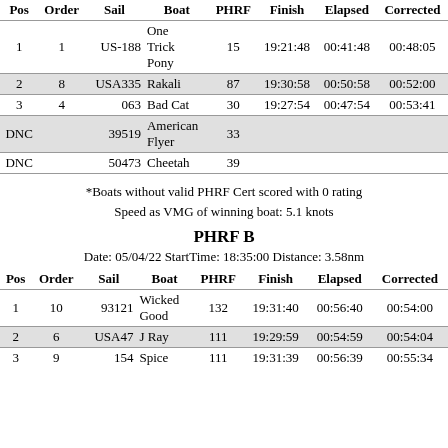| Pos | Order | Sail | Boat | PHRF | Finish | Elapsed | Corrected |
| --- | --- | --- | --- | --- | --- | --- | --- |
| 1 | 1 | US-188 | One Trick Pony | 15 | 19:21:48 | 00:41:48 | 00:48:05 |
| 2 | 8 | USA335 | Rakali | 87 | 19:30:58 | 00:50:58 | 00:52:00 |
| 3 | 4 | 063 | Bad Cat | 30 | 19:27:54 | 00:47:54 | 00:53:41 |
| DNC |  | 39519 | American Flyer | 33 |  |  |  |
| DNC |  | 50473 | Cheetah | 39 |  |  |  |
*Boats without valid PHRF Cert scored with 0 rating
Speed as VMG of winning boat: 5.1 knots
PHRF B
Date: 05/04/22 StartTime: 18:35:00 Distance: 3.58nm
| Pos | Order | Sail | Boat | PHRF | Finish | Elapsed | Corrected |
| --- | --- | --- | --- | --- | --- | --- | --- |
| 1 | 10 | 93121 | Wicked Good | 132 | 19:31:40 | 00:56:40 | 00:54:00 |
| 2 | 6 | USA47 | J Ray | 111 | 19:29:59 | 00:54:59 | 00:54:04 |
| 3 | 9 | 154 | Spice | 111 | 19:31:39 | 00:56:39 | 00:55:34 |